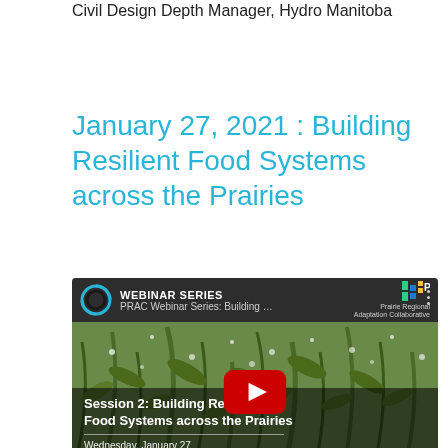Civil Design Depth Manager, Hydro Manitoba
January 27, 2021 : Building Resilient Food Systems across the Prairies
[Figure (screenshot): YouTube video thumbnail for PRAC Webinar Series Session 2: Building Resilient Food Systems across the Prairies. Shows a webinar series logo, PRAC branding, a background of crop plants with hail/water, a YouTube play button, and overlay text reading 'Session 2: Building Resilient Food Systems across the Prairies, Wednesday, January 27, 1:00 p.m. - 2:30 p.m. CST, Register now: bit.ly/PRAC-s2'.]